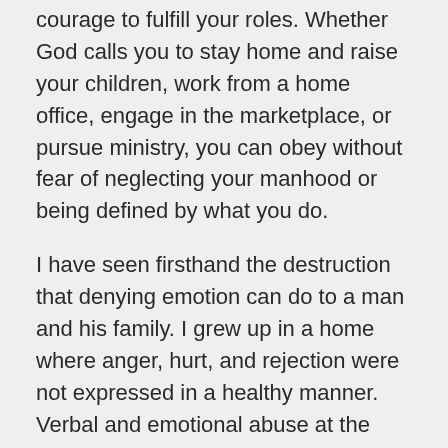courage to fulfill your roles. Whether God calls you to stay home and raise your children, work from a home office, engage in the marketplace, or pursue ministry, you can obey without fear of neglecting your manhood or being defined by what you do.
I have seen firsthand the destruction that denying emotion can do to a man and his family. I grew up in a home where anger, hurt, and rejection were not expressed in a healthy manner. Verbal and emotional abuse at the hand of my father was a regular part of my life from the time I was a small child. My father eventually left our family rather than face his own insecurities over failures in ministry, loss of a parent, and the effects of the Vietnam War. Rather than allowing God to bring healing and restoration, my father